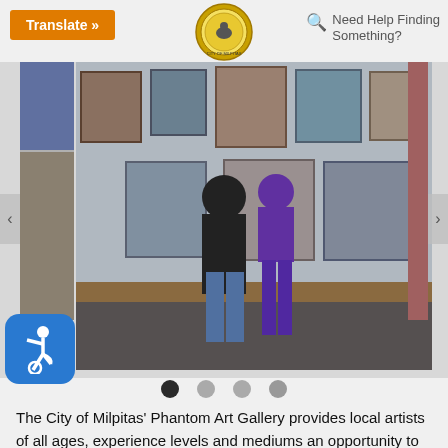[Figure (screenshot): Orange Translate button with chevron arrows in top-left, City of Milpitas seal in center top, search icon with 'Need Help Finding Something?' text top-right]
[Figure (photo): Two people (a man in black shirt and jeans, a woman in purple) viewed from behind, looking at framed artwork hanging on gallery walls]
[Figure (other): Four navigation dots below slider: first dot is dark/active, remaining three are grey]
[Figure (other): Blue rounded square accessibility icon with wheelchair user symbol in white]
The City of Milpitas' Phantom Art Gallery provides local artists of all ages, experience levels and mediums an opportunity to show their work at gallery locations at the Milpitas Community Center and Milpitas Library. Phantom Art Gallery exhibits are free and open to the public. There is often an Artist Talk or Artist Reception scheduled during the exhibit, so members of the public can meet the artists and